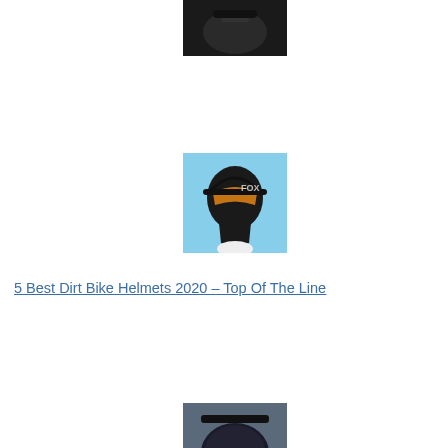[Figure (photo): Dark helmet or camera device on black background, partially visible at top of page]
[Figure (photo): Person wearing a black dirt bike helmet with orange/yellow tinted visor, looking upward against blue sky]
5 Best Dirt Bike Helmets 2020 – Top Of The Line
[Figure (photo): Dark dirt bike helmet partially visible at bottom of page]